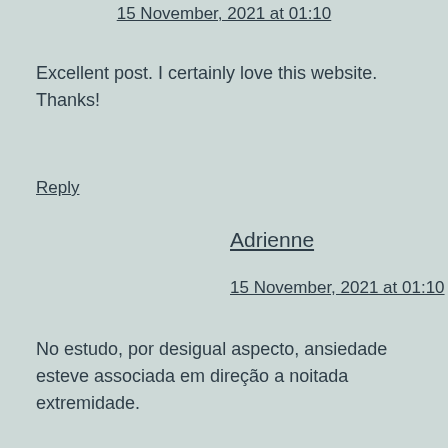15 November, 2021 at 01:10
Excellent post. I certainly love this website. Thanks!
Reply
Adrienne
15 November, 2021 at 01:10
No estudo, por desigual aspecto, ansiedade esteve associada em direção a noitada extremidade.